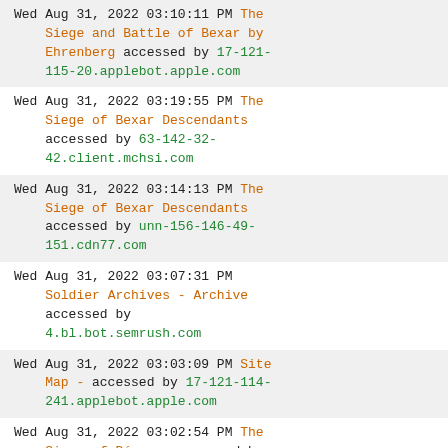Wed Aug 31, 2022 03:10:11 PM The Siege and Battle of Bexar by Ehrenberg accessed by 17-121-115-20.applebot.apple.com
Wed Aug 31, 2022 03:19:55 PM The Siege of Bexar Descendants accessed by 63-142-32-42.client.mchsi.com
Wed Aug 31, 2022 03:14:13 PM The Siege of Bexar Descendants accessed by unn-156-146-49-151.cdn77.com
Wed Aug 31, 2022 03:07:31 PM Soldier Archives - Archive accessed by 4.bl.bot.semrush.com
Wed Aug 31, 2022 03:03:09 PM Site Map - accessed by 17-121-114-241.applebot.apple.com
Wed Aug 31, 2022 03:02:54 PM The Siege of Béxar - accessed by 63-142-32-42.client.mchsi.com
Wed Aug 31, 2022 03:02:54 PM The